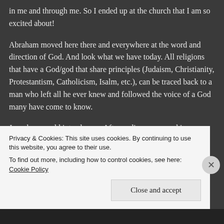in me and through me. So I ended up at the church that I am so excited about!
Abraham moved here there and everywhere at the word and direction of God. And look what we have today. All religions that have a God/god that share principles (Judaism, Christianity, Protestantism, Catholicism, Isalm, etc.), can be traced back to a man who left all he ever knew and followed the voice of a God many have come to know.
Joseph was sold into slavery. After ending up second in command, he ran for survival, ended up falsely
Privacy & Cookies: This site uses cookies. By continuing to use this website, you agree to their use.
To find out more, including how to control cookies, see here: Cookie Policy